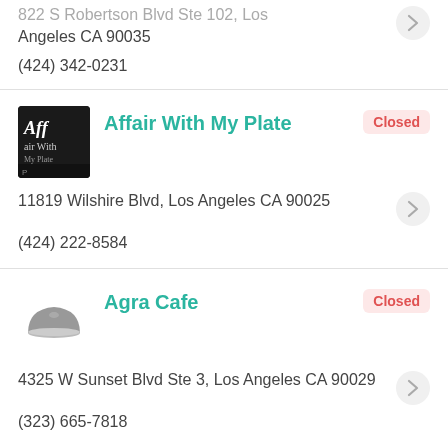822 S Robertson Blvd Ste 102, Los Angeles CA 90035
(424) 342-0231
Affair With My Plate
Closed
11819 Wilshire Blvd, Los Angeles CA 90025
(424) 222-8584
Agra Cafe
Closed
4325 W Sunset Blvd Ste 3, Los Angeles CA 90029
(323) 665-7818